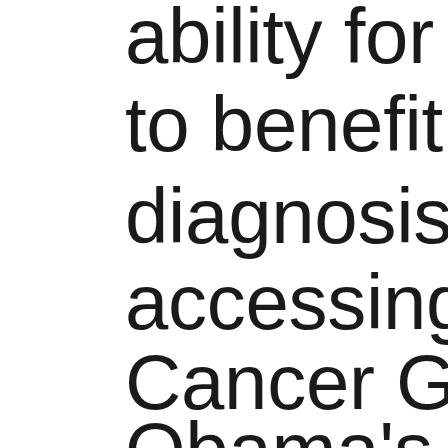ability for more c[ancer patients] to benefit from ta[rgeted] diagnosis and tre[atment,] accessing a shar[ed] Cancer Genomes[...] Obama's Precisio[n Medicine Initiative being] being spearhead[ed...]